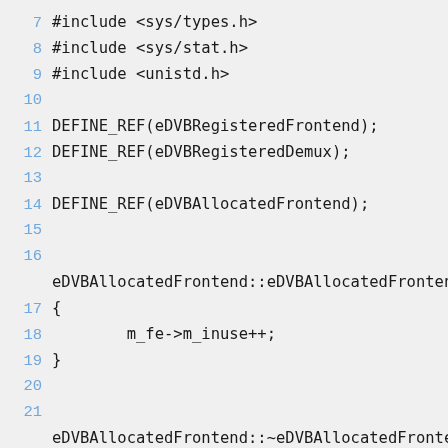[Figure (screenshot): Source code snippet in C++ showing include directives, DEFINE_REF macros, and eDVBAllocatedFrontend constructor and destructor definitions with line numbers 7-24.]